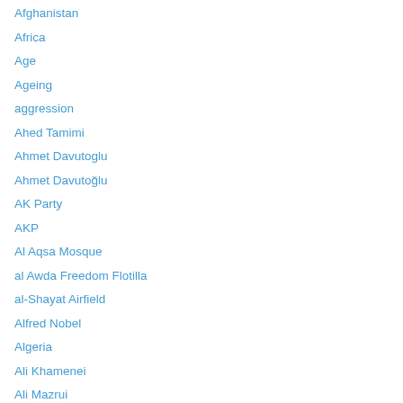Afghanistan
Africa
Age
Ageing
aggression
Ahed Tamimi
Ahmet Davutoglu
Ahmet Davutoğlu
AK Party
AKP
Al Aqsa Mosque
al Awda Freedom Flotilla
al-Shayat Airfield
Alfred Nobel
Algeria
Ali Khamenei
Ali Mazrui
alliance
Altamont Speedway Concert
Alternative Facts